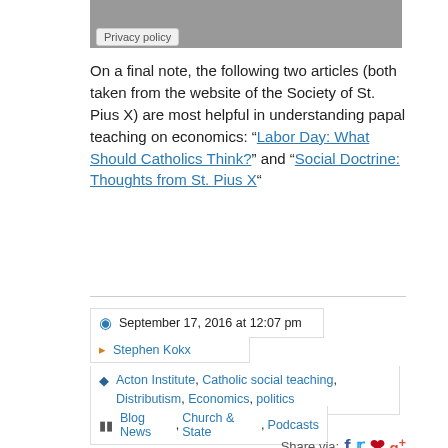[Figure (other): Gray banner at top of page with Privacy policy label overlay]
On a final note, the following two articles (both taken from the website of the Society of St. Pius X) are most helpful in understanding papal teaching on economics: “Labor Day: What Should Catholics Think?” and “Social Doctrine: Thoughts from St. Pius X“
September 17, 2016 at 12:07 pm
Stephen Kokx
Acton Institute, Catholic social teaching, Distributism, Economics, politics
Blog News, Church & State, Podcasts
Share via:
SEARCH